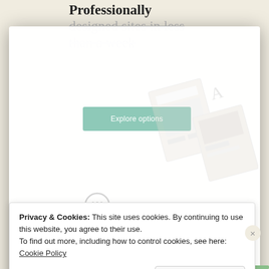Professionally designed sites in less than a week
[Figure (screenshot): Explore options button on a website builder landing page with mockup images of designed websites]
[Figure (logo): WordPress circular logo mark]
Share this:
[Figure (screenshot): Social share buttons: Tweet, Save (Pinterest), Share (LinkedIn)]
[Figure (other): I agree button overlay]
Privacy & Cookies: This site uses cookies. By continuing to use this website, you agree to their use. To find out more, including how to control cookies, see here: Cookie Policy
Close and accept